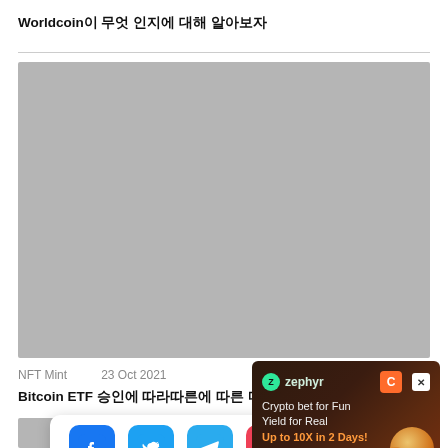Worldcoin이 무엇 인지에 대해
[Figure (photo): Main article image placeholder - large gray rectangle]
NFT Mint   23 Oct 2021
Bitcoin ETF 승인에 따라따른에 따른 다음 단 한 몇 가지...
[Figure (infographic): Social share bar with Facebook, Twitter, Telegram, Pocket icons]
[Figure (infographic): Zephyr ad overlay: Crypto bet for Fun Yield for Real Up to 10X in 2 Days!]
[Figure (photo): Partial article thumbnail at bottom]